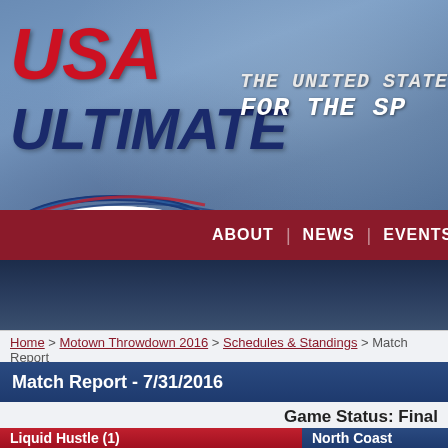[Figure (logo): USA Ultimate website header banner with logo showing a flying disc with American flag design, tagline 'THE UNITED STATE FOR THE SP' (cropped), and navigation bar with ABOUT | NEWS | EVENTS | COMPETI...]
Home > Motown Throwdown 2016 > Schedules & Standings > Match Report
Match Report - 7/31/2016
Game Status: Final
Liquid Hustle (1)
North Coast